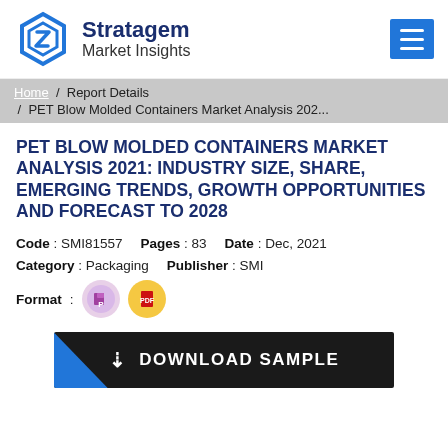[Figure (logo): Stratagem Market Insights logo with hexagon icon and text]
Home / Report Details / PET Blow Molded Containers Market Analysis 202...
PET BLOW MOLDED CONTAINERS MARKET ANALYSIS 2021: INDUSTRY SIZE, SHARE, EMERGING TRENDS, GROWTH OPPORTUNITIES AND FORECAST TO 2028
Code : SMI81557   Pages : 83   Date : Dec, 2021
Category : Packaging   Publisher : SMI
Format : [PowerPoint icon] [PDF icon]
DOWNLOAD SAMPLE